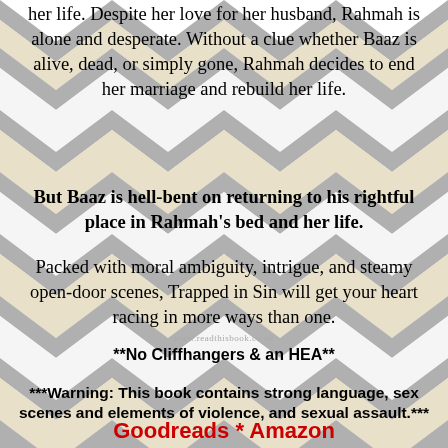her life. Despite her love for her husband, Rahmah is alone and desperate. Without a clue whether Baaz is alive, dead, or simply gone, Rahmah decides to end her marriage and rebuild her life.
But Baaz is hell-bent on returning to his rightful place in Rahmah's bed and her life.
Packed with moral ambiguity, intrigue, and steamy open-door scenes, Trapped in Sin will get your heart racing in more ways than one.
**No Cliffhangers & an HEA**
***Warning: This book contains strong language, sex scenes and elements of violence, and sexual assault.***
Goodreads * Amazon
ABOUT THE AUTHOR